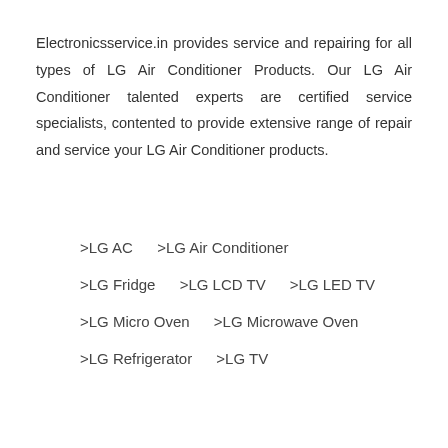Electronicsservice.in provides service and repairing for all types of LG Air Conditioner Products. Our LG Air Conditioner talented experts are certified service specialists, contented to provide extensive range of repair and service your LG Air Conditioner products.
>LG AC    >LG Air Conditioner
>LG Fridge    >LG LCD TV    >LG LED TV
>LG Micro Oven    >LG Microwave Oven
>LG Refrigerator    >LG TV